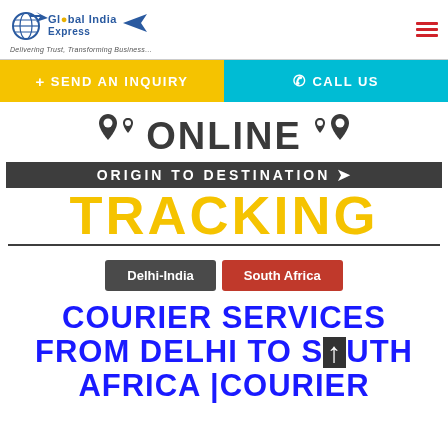[Figure (logo): Global India Express logo with globe icon and airplane, tagline 'Delivering Trust, Transforming Business...']
+ SEND AN INQUIRY
CALL US
[Figure (infographic): Online Origin to Destination Tracking banner with location pins and yellow TRACKING text]
Delhi-India
South Africa
COURIER SERVICES FROM DELHI TO SOUTH AFRICA |COURIER